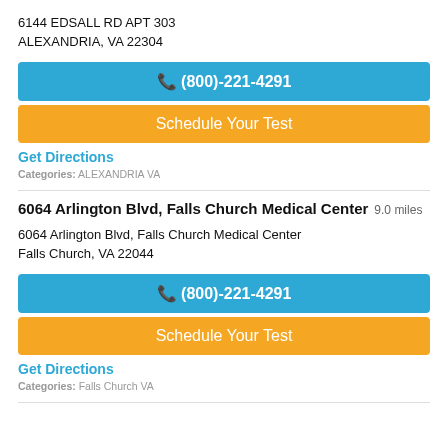6144 EDSALL RD APT 303
ALEXANDRIA, VA 22304
(800)-221-4291
Schedule Your Test
Get Directions
Categories: ALEXANDRIA VA
6064 Arlington Blvd, Falls Church Medical Center 9.0 miles
6064 Arlington Blvd, Falls Church Medical Center
Falls Church, VA 22044
(800)-221-4291
Schedule Your Test
Get Directions
Categories: Falls Church VA